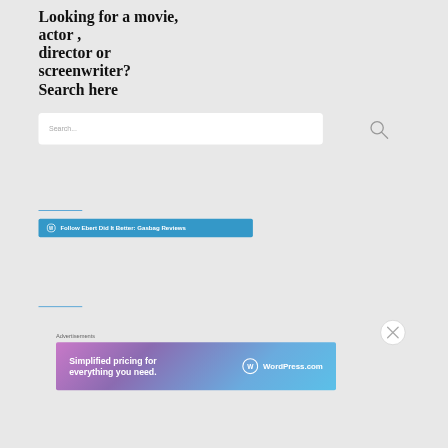Looking for a movie, actor , director or screenwriter? Search here
Search...
[Figure (other): Blue horizontal divider line]
Follow Ebert Did It Better: Gasbag Reviews
[Figure (other): Blue horizontal divider line]
[Figure (other): Close (X) circle button]
Advertisements
[Figure (other): WordPress.com advertisement banner: Simplified pricing for everything you need.]